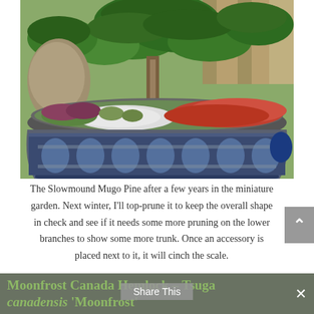[Figure (photo): A large decorative blue ceramic pot with a dark rim, planted with a Slowmound Mugo Pine bonsai-style tree and colorful succulents including red and green sedum and sempervivum, with white gravel, in a garden setting.]
The Slowmound Mugo Pine after a few years in the miniature garden. Next winter, I'll top-prune it to keep the overall shape in check and see if it needs some more pruning on the lower branches to show some more trunk. Once an accessory is placed next to it, it will cinch the scale.
Moonfrost Canada Hemlock – Tsuga canadensis 'Moonfrost'